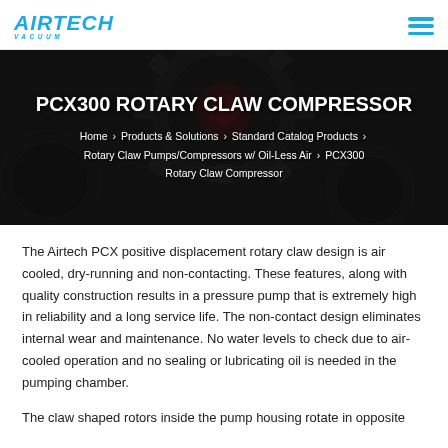AIRTECH VACUUM
[Figure (photo): Dark background showing close-up of rotary claw compressor gear teeth, with hero title overlay]
PCX300 ROTARY CLAW COMPRESSOR
Home > Products & Solutions > Standard Catalog Products > Rotary Claw Pumps/Compressors w/ Oil-Less Air > PCX300 Rotary Claw Compressor
The Airtech PCX positive displacement rotary claw design is air cooled, dry-running and non-contacting. These features, along with quality construction results in a pressure pump that is extremely high in reliability and a long service life. The non-contact design eliminates internal wear and maintenance. No water levels to check due to air-cooled operation and no sealing or lubricating oil is needed in the pumping chamber.
The claw shaped rotors inside the pump housing rotate in opposite